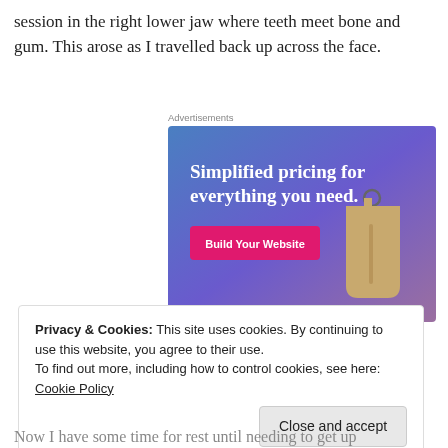session in the right lower jaw where teeth meet bone and gum. This arose as I travelled back up across the face.
[Figure (other): Advertisement banner with gradient blue-purple background showing 'Simplified pricing for everything you need.' text and 'Build Your Website' pink button, with a price tag graphic on the right.]
Privacy & Cookies: This site uses cookies. By continuing to use this website, you agree to their use.
To find out more, including how to control cookies, see here: Cookie Policy
Now I have some time for rest until needing to get up